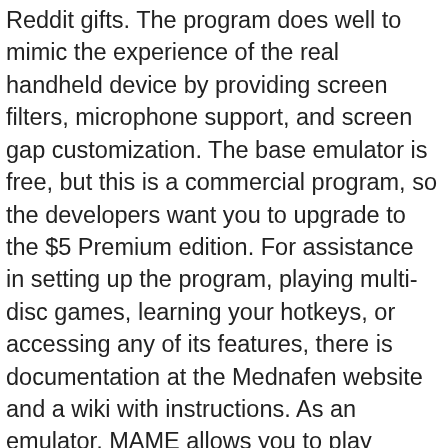Reddit gifts. The program does well to mimic the experience of the real handheld device by providing screen filters, microphone support, and screen gap customization. The base emulator is free, but this is a commercial program, so the developers want you to upgrade to the $5 Premium edition. For assistance in setting up the program, playing multi-disc games, learning your hotkeys, or accessing any of its features, there is documentation at the Mednafen website and a wiki with instructions. As an emulator, MAME allows you to play games from many Capcom, Namco, Neo Geo, and Sega arcade systems, plus some older home consoles and personal computers. Includes: Ikaruga, Psyvariar 2, Zero Gunner 2, and Border Down. As those games are in their own right - Wind and Water Puzzle Battles is ridiculously addictive and graphically attractive considering it's a port from the GP32 of all things. Upgraded version of Rush Rush Rally Racing, a very fun and fine-looking arcade-ish top-down racer. You can also connect multiple gamepads at a time for local multiplayer. As an emulator, DeSmuMe offers features like save states, screenshot support, cheats, and video and audio recording. If you want to play old PS2 games, PCSX2 is your best bet.